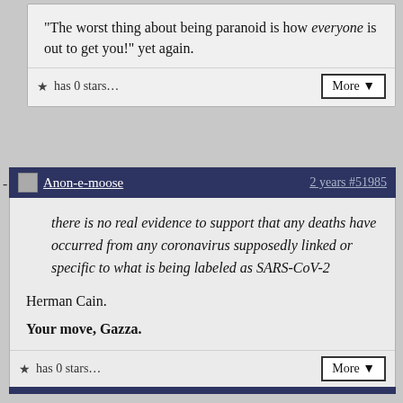“The worst thing about being paranoid is how everyone is out to get you!” yet again.
has 0 stars...
More ▼
- Anon-e-moose   2 years #51985
there is no real evidence to support that any deaths have occurred from any coronavirus supposedly linked or specific to what is being labeled as SARS-CoV-2
Herman Cain.
Your move, Gazza.
has 0 stars...
More ▼